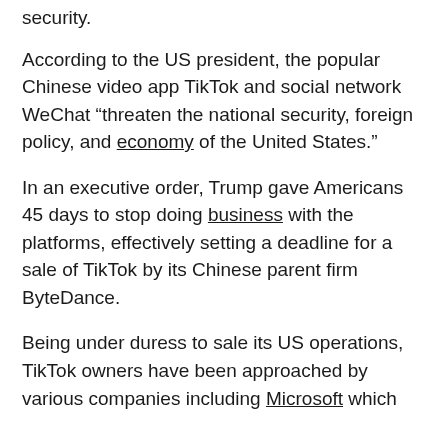security.
According to the US president, the popular Chinese video app TikTok and social network WeChat “threaten the national security, foreign policy, and economy of the United States.”
In an executive order, Trump gave Americans 45 days to stop doing business with the platforms, effectively setting a deadline for a sale of TikTok by its Chinese parent firm ByteDance.
Being under duress to sale its US operations, TikTok owners have been approached by various companies including Microsoft which